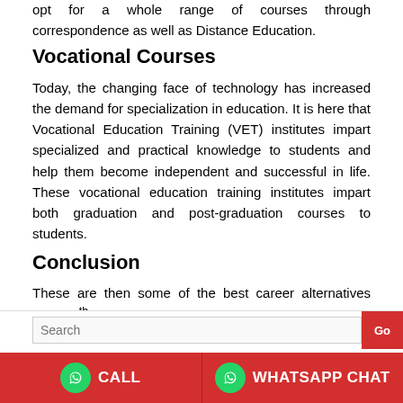opt for a whole range of courses through correspondence as well as Distance Education.
Vocational Courses
Today, the changing face of technology has increased the demand for specialization in education. It is here that Vocational Education Training (VET) institutes impart specialized and practical knowledge to students and help them become independent and successful in life. These vocational education training institutes impart both graduation and post-graduation courses to students.
Conclusion
These are then some of the best career alternatives after 12th class that you can ponder over and decide as per your interests and ambitions.